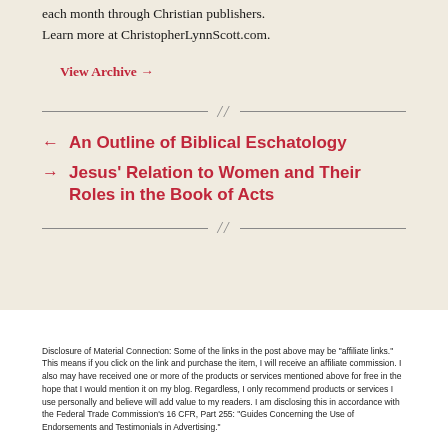each month through Christian publishers. Learn more at ChristopherLynnScott.com.
View Archive →
← An Outline of Biblical Eschatology
→ Jesus' Relation to Women and Their Roles in the Book of Acts
Disclosure of Material Connection: Some of the links in the post above may be "affiliate links." This means if you click on the link and purchase the item, I will receive an affiliate commission. I also may have received one or more of the products or services mentioned above for free in the hope that I would mention it on my blog. Regardless, I only recommend products or services I use personally and believe will add value to my readers. I am disclosing this in accordance with the Federal Trade Commission's 16 CFR, Part 255: "Guides Concerning the Use of Endorsements and Testimonials in Advertising."